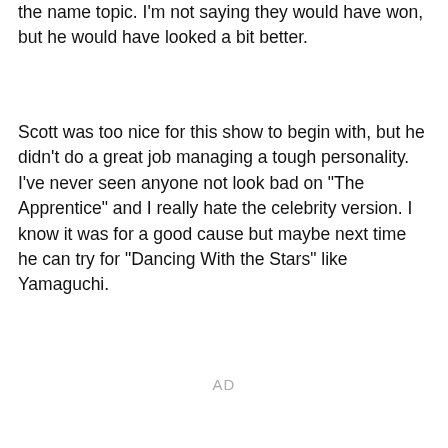the name topic. I'm not saying they would have won, but he would have looked a bit better.
Scott was too nice for this show to begin with, but he didn't do a great job managing a tough personality. I've never seen anyone not look bad on "The Apprentice" and I really hate the celebrity version. I know it was for a good cause but maybe next time he can try for "Dancing With the Stars" like Yamaguchi.
AD